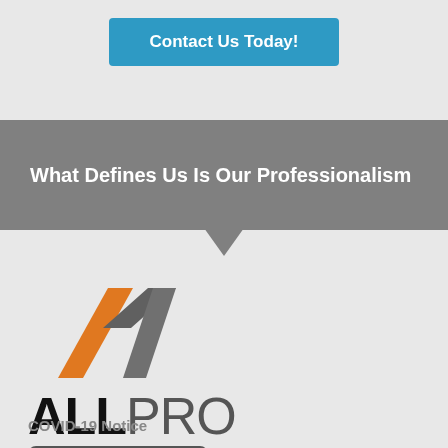Contact Us Today!
What Defines Us Is Our Professionalism
[Figure (logo): AllPro Painters logo with orange and gray chevron/roof icon above bold text ALL PRO PAINTERS]
COVID-19 Notice